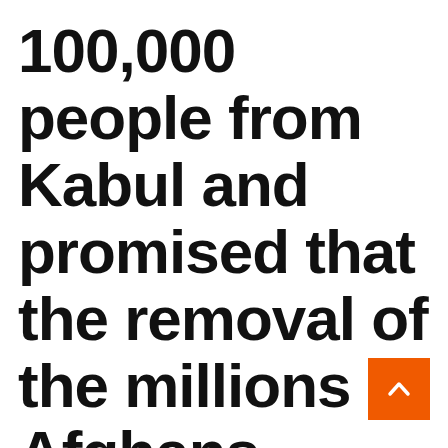100,000 people from Kabul and promised that the removal of the millions of Afghans demanded